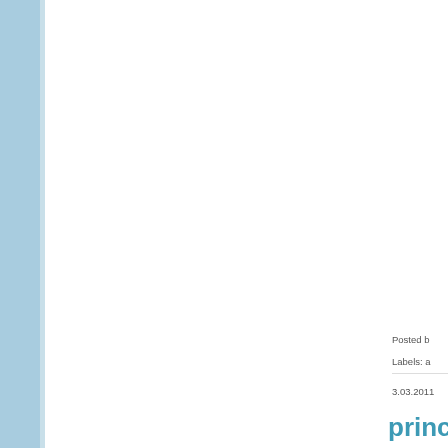Posted b
Labels: a
3.03.2011
princ